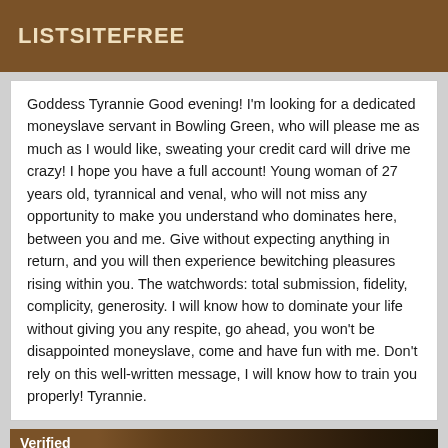LISTSITEFREE
Goddess Tyrannie Good evening! I'm looking for a dedicated moneyslave servant in Bowling Green, who will please me as much as I would like, sweating your credit card will drive me crazy! I hope you have a full account! Young woman of 27 years old, tyrannical and venal, who will not miss any opportunity to make you understand who dominates here, between you and me. Give without expecting anything in return, and you will then experience bewitching pleasures rising within you. The watchwords: total submission, fidelity, complicity, generosity. I will know how to dominate your life without giving you any respite, go ahead, you won't be disappointed moneyslave, come and have fun with me. Don't rely on this well-written message, I will know how to train you properly! Tyrannie.
[Figure (photo): Partial image of a person with a 'Verified' label overlay in the bottom left corner, brown/dark background]